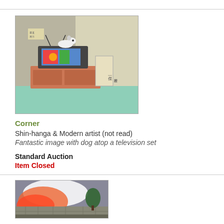[Figure (illustration): Japanese woodblock print showing a dog atop a television set on a cabinet, interior corner scene with muted colors]
Corner
Shin-hanga & Modern artist (not read)
Fantastic image with dog atop a television set
Standard Auction
Item Closed
[Figure (illustration): Japanese woodblock print showing a red/orange sunset or landscape scene with trees and a wall]